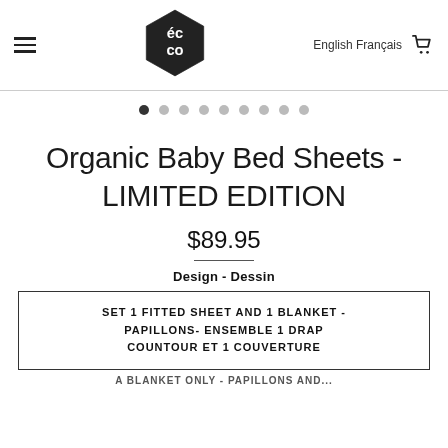écco — English Français [cart icon]
[Figure (logo): écco hexagonal logo, black with white text reading 'éc co']
[Figure (other): Carousel pagination dots — 9 dots, first one filled/active, rest grey]
Organic Baby Bed Sheets - LIMITED EDITION
$89.95
Design - Dessin
SET 1 FITTED SHEET AND 1 BLANKET - PAPILLONS- ENSEMBLE 1 DRAP COUNTOUR ET 1 COUVERTURE